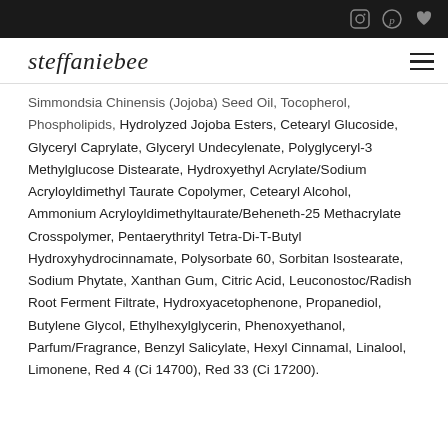steffaniebee
Simmondsia Chinensis (Jojoba) Seed Oil, Tocopherol, Phospholipids, Hydrolyzed Jojoba Esters, Cetearyl Glucoside, Glyceryl Caprylate, Glyceryl Undecylenate, Polyglyceryl-3 Methylglucose Distearate, Hydroxyethyl Acrylate/Sodium Acryloyldimethyl Taurate Copolymer, Cetearyl Alcohol, Ammonium Acryloyldimethyltaurate/Beheneth-25 Methacrylate Crosspolymer, Pentaerythrityl Tetra-Di-T-Butyl Hydroxyhydrocinnamate, Polysorbate 60, Sorbitan Isostearate, Sodium Phytate, Xanthan Gum, Citric Acid, Leuconostoc/Radish Root Ferment Filtrate, Hydroxyacetophenone, Propanediol, Butylene Glycol, Ethylhexylglycerin, Phenoxyethanol, Parfum/Fragrance, Benzyl Salicylate, Hexyl Cinnamal, Linalool, Limonene, Red 4 (Ci 14700), Red 33 (Ci 17200).